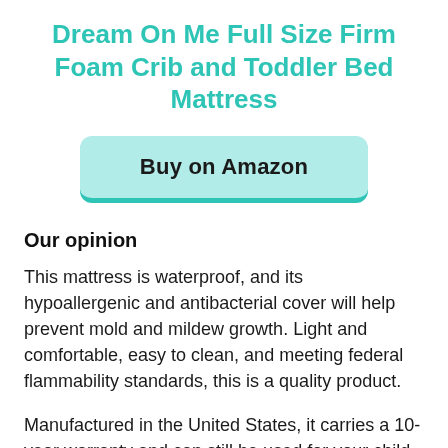Dream On Me Full Size Firm Foam Crib and Toddler Bed Mattress
[Figure (other): Buy on Amazon button — teal/mint rounded rectangle button with bold text 'Buy on Amazon']
Our opinion
This mattress is waterproof, and its hypoallergenic and antibacterial cover will help prevent mold and mildew growth. Light and comfortable, easy to clean, and meeting federal flammability standards, this is a quality product.
Manufactured in the United States, it carries a 10-year warranty and can still be used for your child when he or she reaches toddlerhood.